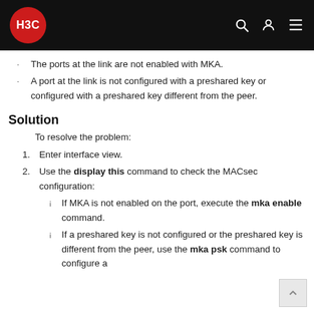H3C
The ports at the link are not enabled with MKA.
A port at the link is not configured with a preshared key or configured with a preshared key different from the peer.
Solution
To resolve the problem:
1. Enter interface view.
2. Use the display this command to check the MACsec configuration:
If MKA is not enabled on the port, execute the mka enable command.
If a preshared key is not configured or the preshared key is different from the peer, use the mka psk command to configure a